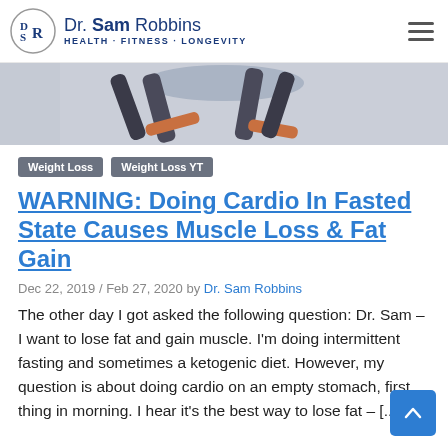Dr. Sam Robbins — Health · Fitness · Longevity
[Figure (photo): Cropped photo of a person running or exercising, legs visible against a light background.]
Weight Loss
Weight Loss YT
WARNING: Doing Cardio In Fasted State Causes Muscle Loss & Fat Gain
Dec 22, 2019 / Feb 27, 2020 by Dr. Sam Robbins
The other day I got asked the following question: Dr. Sam – I want to lose fat and gain muscle. I'm doing intermittent fasting and sometimes a ketogenic diet. However, my question is about doing cardio on an empty stomach, first thing in morning. I hear it's the best way to lose fat – [...]